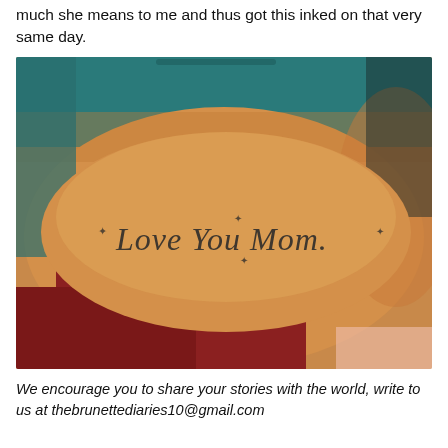much she means to me and thus got this inked on that very same day.
[Figure (photo): A close-up photograph of a person's forearm showing a tattoo in cursive script reading 'Love You Mom.' with small star/flower decorations around the text. The person is wearing teal/blue and dark red clothing visible in the background.]
We encourage you to share your stories with the world, write to us at thebrunettediaries10@gmail.com